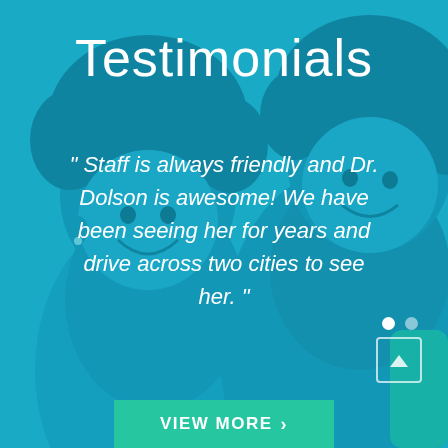Testimonials
" Staff is always friendly and Dr. Dolson is awesome! We have been seeing her for years and drive across two cities to see her. "
[Figure (photo): Background photo of two smiling children (a girl and a boy) with a teal/cyan color overlay]
VIEW MORE >